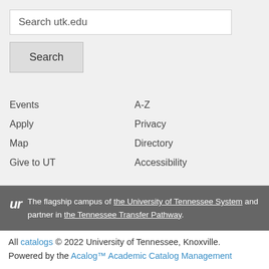Search utk.edu
Search
Events
Apply
Map
Give to UT
A-Z
Privacy
Directory
Accessibility
The flagship campus of the University of Tennessee System and partner in the Tennessee Transfer Pathway.
All catalogs © 2022 University of Tennessee, Knoxville. Powered by the Acalog™ Academic Catalog Management